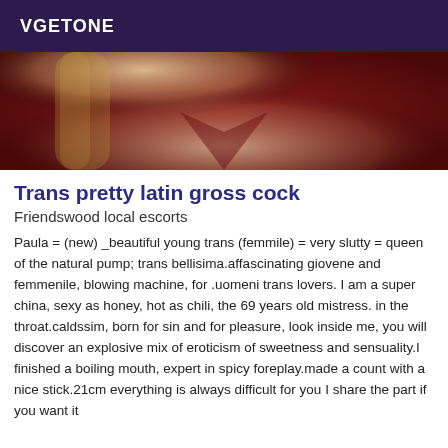VGETONE
[Figure (photo): Cropped photo showing a person with blonde hair wearing a dark red/maroon v-neck top, visible from neck/chest area upward]
Trans pretty latin gross cock
Friendswood local escorts
Paula = (new) _beautiful young trans (femmile) = very slutty = queen of the natural pump; trans bellisima.affascinating giovene and femmenile, blowing machine, for .uomeni trans lovers. I am a super china, sexy as honey, hot as chili, the 69 years old mistress. in the throat.caldssim, born for sin and for pleasure, look inside me, you will discover an explosive mix of eroticism of sweetness and sensuality.I finished a boiling mouth, expert in spicy foreplay.made a count with a nice stick.21cm everything is always difficult for you I share the part if you want it